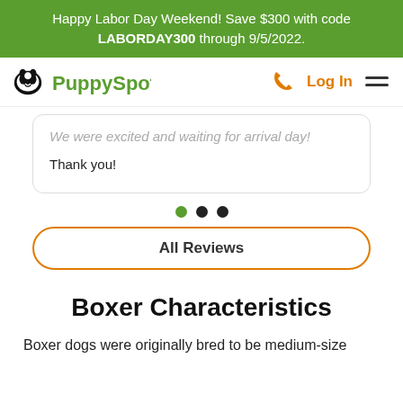Happy Labor Day Weekend! Save $300 with code LABORDAY300 through 9/5/2022.
[Figure (logo): PuppySpot logo with dog paw icon and green text, plus phone icon, Log In link, and hamburger menu on the right]
We were excited and waiting for arrival day! Thank you!
[Figure (infographic): Three carousel dots: one green (active) and two black]
All Reviews
Boxer Characteristics
Boxer dogs were originally bred to be medium-size